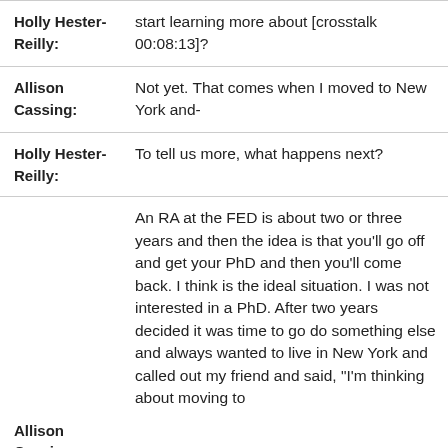Holly Hester-Reilly: start learning more about [crosstalk 00:08:13]?
Allison Cassing: Not yet. That comes when I moved to New York and-
Holly Hester-Reilly: To tell us more, what happens next?
An RA at the FED is about two or three years and then the idea is that you'll go off and get your PhD and then you'll come back. I think is the ideal situation. I was not interested in a PhD. After two years decided it was time to go do something else and always wanted to live in New York and called out my friend and said, "I'm thinking about moving to
Allison Cassing: